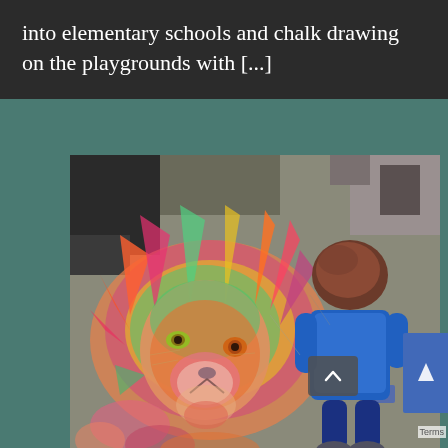into elementary schools and chalk drawing on the playgrounds with [...]
[Figure (photo): A young child in a blue long-sleeve shirt looking down at a large, colorful chalk drawing of a lion's face on a sidewalk or pavement. The chalk art is vibrant with rainbow colors including pink, orange, green, and yellow.]